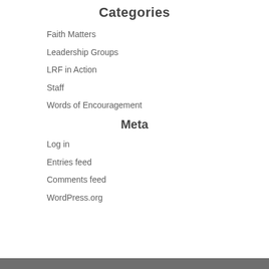Categories
Faith Matters
Leadership Groups
LRF in Action
Staff
Words of Encouragement
Meta
Log in
Entries feed
Comments feed
WordPress.org